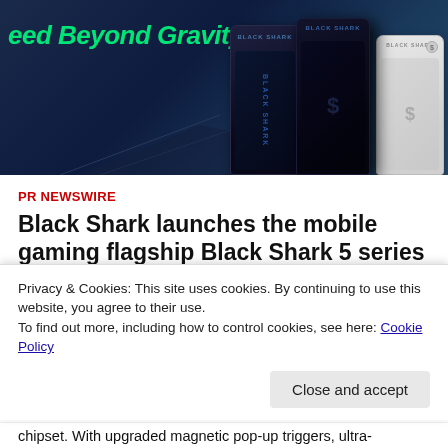[Figure (photo): Hero image showing Black Shark 5 series smartphones against a dark blue background with the text 'eed Beyond Gravity' in green italic lettering. Three phones shown: two dark/black models and one white model.]
PR NEWSWIRE
Black Shark launches the mobile gaming flagship Black Shark 5 series globally
June 9, 2022 / edd1994
Privacy & Cookies: This site uses cookies. By continuing to use this website, you agree to their use.
To find out more, including how to control cookies, see here: Cookie Policy
Close and accept
chipset. With upgraded magnetic pop-up triggers, ultra-